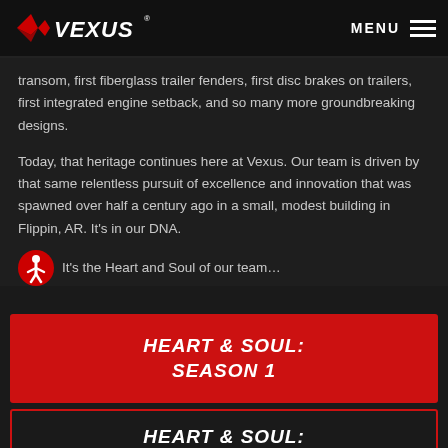VEXUS — MENU
transom, first fiberglass trailer fenders, first disc brakes on trailers, first integrated engine setback, and so many more groundbreaking designs.
Today, that heritage continues here at Vexus. Our team is driven by that same relentless pursuit of excellence and innovation that was spawned over half a century ago in a small, modest building in Flippin, AR. It's in our DNA.
It's the Heart and Soul of our team…
HEART & SOUL: SEASON 1
HEART & SOUL: